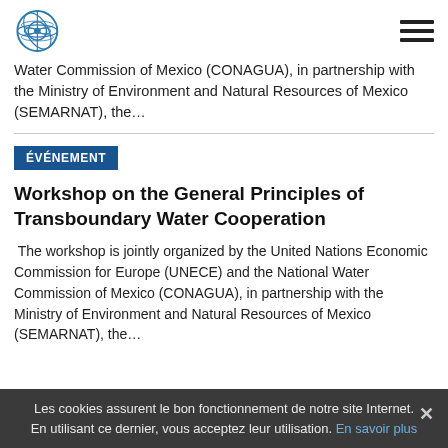UNECE logo and navigation menu
Water Commission of Mexico (CONAGUA), in partnership with the Ministry of Environment and Natural Resources of Mexico (SEMARNAT), the…
ÉVÉNEMENT
Workshop on the General Principles of Transboundary Water Cooperation
The workshop is jointly organized by the United Nations Economic Commission for Europe (UNECE) and the National Water Commission of Mexico (CONAGUA), in partnership with the Ministry of Environment and Natural Resources of Mexico (SEMARNAT), the…
Les cookies assurent le bon fonctionnement de notre site Internet. En utilisant ce dernier, vous acceptez leur utilisation. En savoir plus